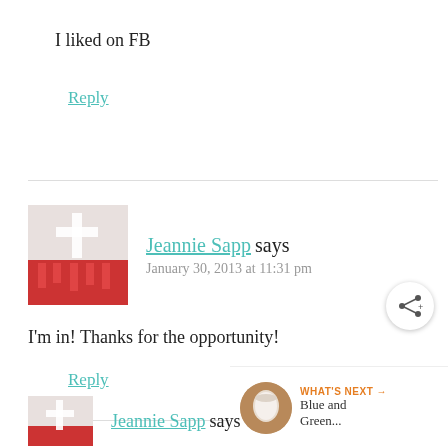I liked on FB
Reply
Jeannie Sapp says
January 30, 2013 at 11:31 pm
I'm in! Thanks for the opportunity!
Reply
[Figure (other): Share button icon — circular white button with share/network icon]
[Figure (other): What's Next widget showing a circular thumbnail of a white cup/mug, with label WHAT'S NEXT and text Blue and Green...]
Jeannie Sapp says